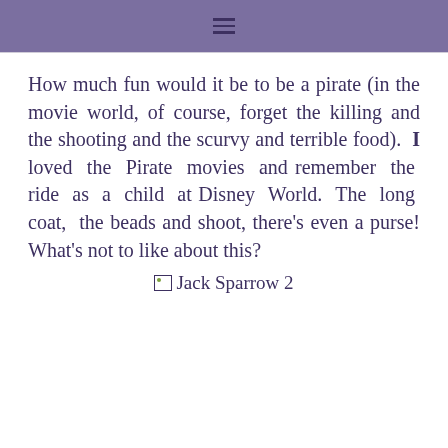≡
How much fun would it be to be a pirate (in the movie world, of course, forget the killing and the shooting and the scurvy and terrible food). I loved the Pirate movies and remember the ride as a child at Disney World. The long coat, the beads and shoot, there's even a purse! What's not to like about this?
Jack Sparrow 2